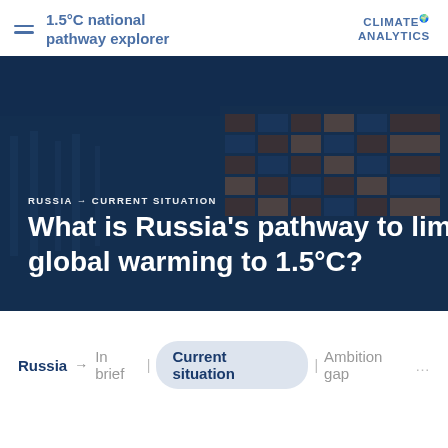1.5°C national pathway explorer — Climate Analytics
[Figure (photo): Aerial view of a shipping port with cargo containers and ships, overlaid with dark blue tint. Text overlay reads: RUSSIA → CURRENT SITUATION / What is Russia's pathway to limit global warming to 1.5°C?]
What is Russia's pathway to limit global warming to 1.5°C?
RUSSIA → CURRENT SITUATION
Russia  →  In brief  |  Current situation  |  Ambition gap